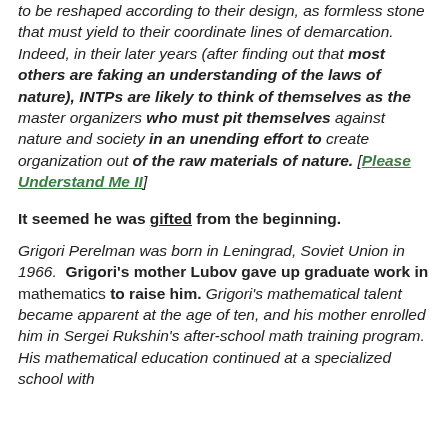to be reshaped according to their design, as formless stone that must yield to their coordinate lines of demarcation. Indeed, in their later years (after finding out that most others are faking an understanding of the laws of nature), INTPs are likely to think of themselves as the master organizers who must pit themselves against nature and society in an unending effort to create organization out of the raw materials of nature. [Please Understand Me II]
It seemed he was gifted from the beginning.
Grigori Perelman was born in Leningrad, Soviet Union in 1966. Grigori's mother Lubov gave up graduate work in mathematics to raise him. Grigori's mathematical talent became apparent at the age of ten, and his mother enrolled him in Sergei Rukshin's after-school math training program. His mathematical education continued at a specialized school with